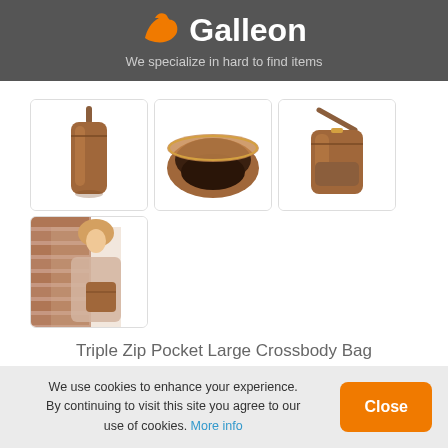[Figure (logo): Galleon logo with orange bird/wave icon and white text 'Galleon' on dark gray background]
We specialize in hard to find items
[Figure (photo): Four product images of a Triple Zip Pocket Large Crossbody Bag in Brown: side view folded, open interior view, front view with strap, and woman wearing the bag]
Triple Zip Pocket Large Crossbody Bag
(Brown)
We use cookies to enhance your experience. By continuing to visit this site you agree to our use of cookies. More info